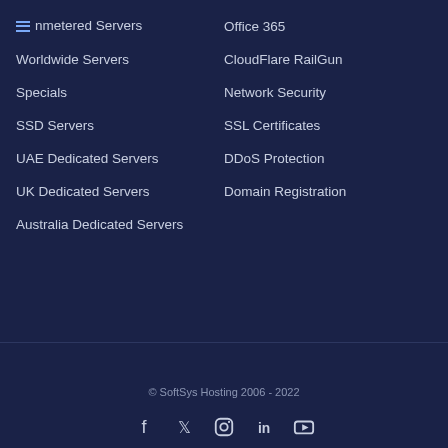Unmetered Servers
Office 365
Worldwide Servers
CloudFlare RailGun
Specials
Network Security
SSD Servers
SSL Certificates
UAE Dedicated Servers
DDoS Protection
UK Dedicated Servers
Domain Registration
Australia Dedicated Servers
© SoftSys Hosting 2006 - 2022